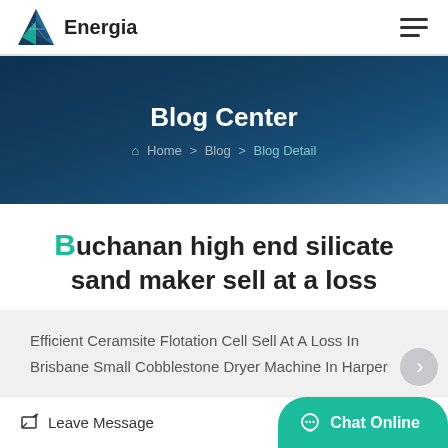Energia
Blog Center
Home > Blog > Blog Detail
Buchanan high end silicate sand maker sell at a loss
Efficient Ceramsite Flotation Cell Sell At A Loss In Brisbane Small Cobblestone Dryer Machine In Harper
Leave Message
Chat Online